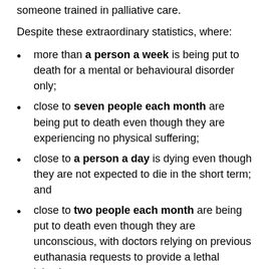someone trained in palliative care.
Despite these extraordinary statistics, where:
more than a person a week is being put to death for a mental or behavioural disorder only;
close to seven people each month are being put to death even though they are experiencing no physical suffering;
close to a person a day is dying even though they are not expected to die in the short term; and
close to two people each month are being put to death even though they are unconscious, with doctors relying on previous euthanasia requests to provide a lethal injection,
the Federal Audit and Evaluation Commission for Euthanasia “considered that all the declarations received corresponded to the essential requirements